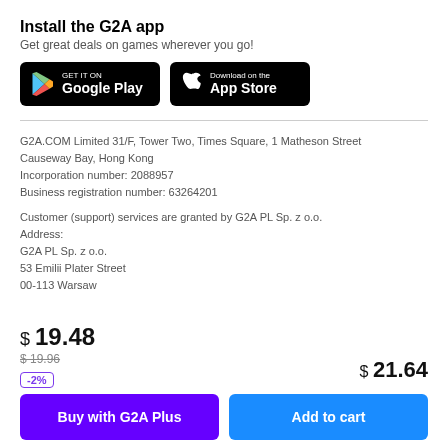Install the G2A app
Get great deals on games wherever you go!
[Figure (logo): Google Play and App Store download buttons]
G2A.COM Limited 31/F, Tower Two, Times Square, 1 Matheson Street Causeway Bay, Hong Kong
Incorporation number: 2088957
Business registration number: 63264201
Customer (support) services are granted by G2A PL Sp. z o.o.
Address:
G2A PL Sp. z o.o.
53 Emilii Plater Street
00-113 Warsaw
$ 19.48
$ 19.96
-2%
$ 21.64
Buy with G2A Plus
Add to cart